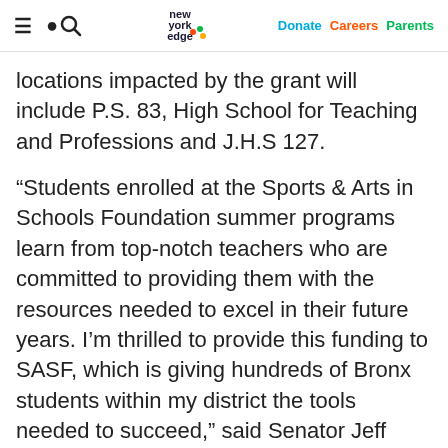New York Edge — Donate | Careers | Parents
locations impacted by the grant will include P.S. 83, High School for Teaching and Professions and J.H.S 127.
“Students enrolled at the Sports & Arts in Schools Foundation summer programs learn from top-notch teachers who are committed to providing them with the resources needed to excel in their future years. I’m thrilled to provide this funding to SASF, which is giving hundreds of Bronx students within my district the tools needed to succeed,” said Senator Jeff Klein.
“We are delighted to receive the funds from State Senator Klein’s generous grant to